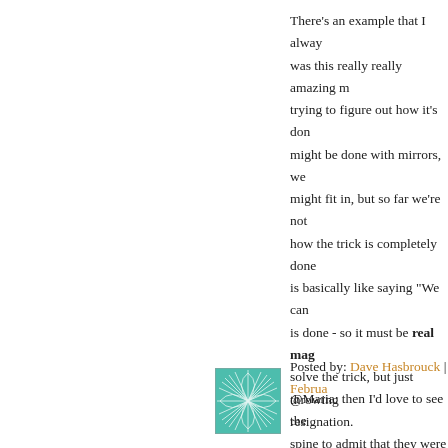There's an example that I always was this really really amazing m trying to figure out how it's don might be done with mirrors, we might fit in, but so far we're not how the trick is completely done is basically like saying "We can is done - so it must be real mag solve the trick, but just throwing resignation.
Posted by: Dave Hasbrouck | Februar
[Figure (illustration): Teal/green decorative avatar image with a radial leaf or feather pattern]
@Maria: then I'd love to see the spine to admit that they were do for an honest mistake. But it's n would have loved to see honesty blog -- instead, just anonymous